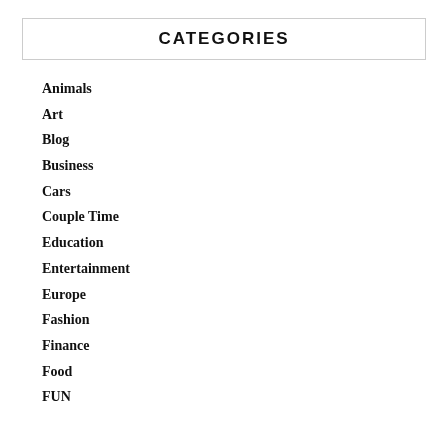CATEGORIES
Animals
Art
Blog
Business
Cars
Couple Time
Education
Entertainment
Europe
Fashion
Finance
Food
FUN